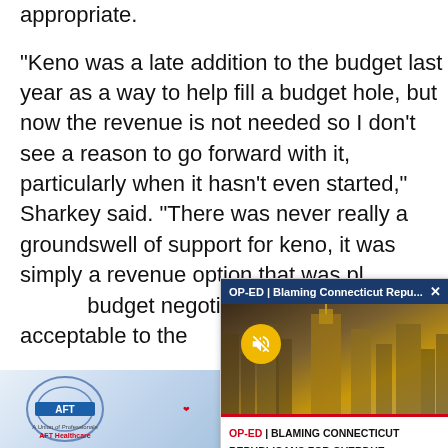appropriate.
“Keno was a late addition to the budget last year as a way to help fill a budget hole, but now the revenue is not needed so I don’t see a reason to go forward with it, particularly when it hasn’t even started,” Sharkey said. “There was never really a groundswell of support for keno, it was simply a revenue option that was p[artially discussed in] budget negotiatio[ns as being] acceptable to the [parties involved].
[Figure (screenshot): Popup overlay showing OP-ED | Blaming Connecticut Repu... with an X close button, a city skyline image with a mute button, and caption: OP-ED | BLAMING CONNECTICUT REPUBLICANS FOR OVERDUE REFORMS? THAT'S A STRETCH | CT NEWS JUNKIE]
[Figure (logo): AFT Healthcare union logo advertisement at bottom left]